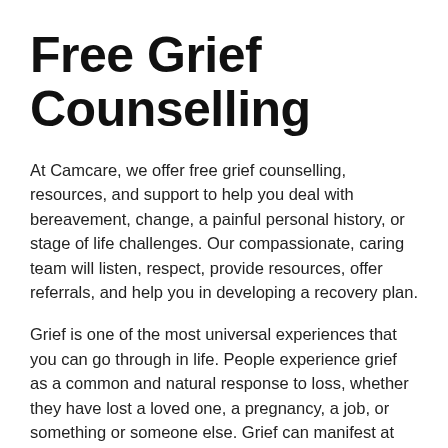Free Grief Counselling
At Camcare, we offer free grief counselling, resources, and support to help you deal with bereavement, change, a painful personal history, or stage of life challenges. Our compassionate, caring team will listen, respect, provide resources, offer referrals, and help you in developing a recovery plan.
Grief is one of the most universal experiences that you can go through in life. People experience grief as a common and natural response to loss, whether they have lost a loved one, a pregnancy, a job, or something or someone else. Grief can manifest at the end of a relationship, when your children leave home, and when you experience a